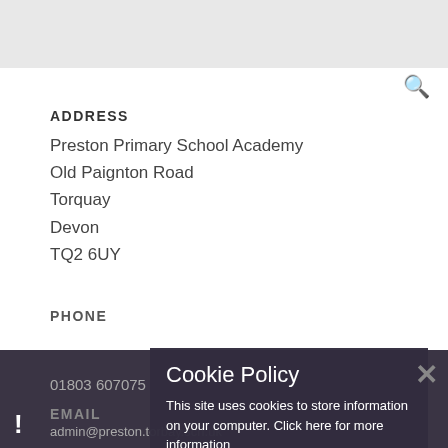[Figure (map): Grey map area at top of page]
ADDRESS
Preston Primary School Academy
Old Paignton Road
Torquay
Devon
TQ2 6UY
PHONE
01803 607075
EMAIL
admin@preston.torbay.sch.uk
Cookie Policy
This site uses cookies to store information on your computer. Click here for more information
Allow Cookies   Deny Cookies